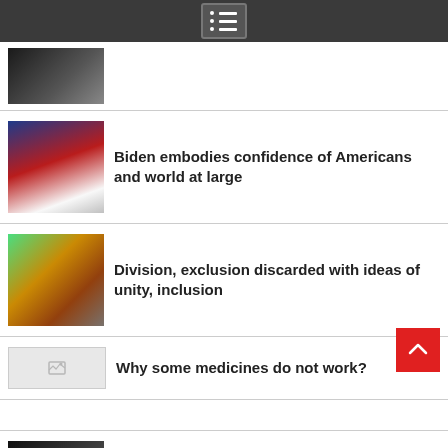Navigation menu icon
[Figure (photo): Partial photo of a person in dark clothing, cropped at top of page]
Biden embodies confidence of Americans and world at large
Division, exclusion discarded with ideas of unity, inclusion
Why some medicines do not work?
Stoppage of briefing on coronavirus